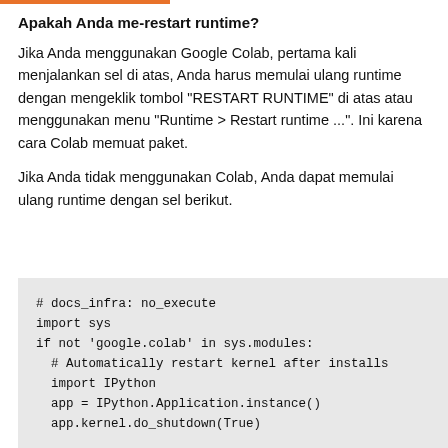Apakah Anda me-restart runtime?
Jika Anda menggunakan Google Colab, pertama kali menjalankan sel di atas, Anda harus memulai ulang runtime dengan mengeklik tombol "RESTART RUNTIME" di atas atau menggunakan menu "Runtime > Restart runtime ...". Ini karena cara Colab memuat paket.
Jika Anda tidak menggunakan Colab, Anda dapat memulai ulang runtime dengan sel berikut.
# docs_infra: no_execute
import sys
if not 'google.colab' in sys.modules:
  # Automatically restart kernel after installs
  import IPython
  app = IPython.Application.instance()
  app.kernel.do_shutdown(True)